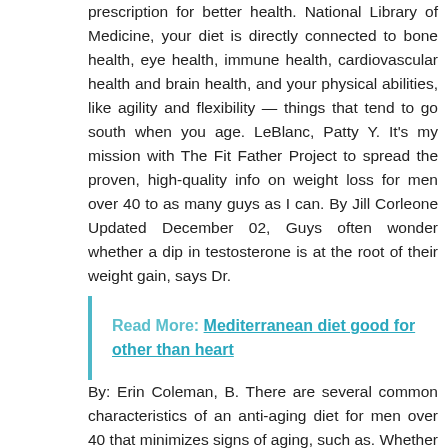prescription for better health. National Library of Medicine, your diet is directly connected to bone health, eye health, immune health, cardiovascular health and brain health, and your physical abilities, like agility and flexibility — things that tend to go south when you age. LeBlanc, Patty Y. It's my mission with The Fit Father Project to spread the proven, high-quality info on weight loss for men over 40 to as many guys as I can. By Jill Corleone Updated December 02, Guys often wonder whether a dip in testosterone is at the root of their weight gain, says Dr.
Read More: Mediterranean diet good for other than heart
By: Erin Coleman, B. There are several common characteristics of an anti-aging diet for men over 40 that minimizes signs of aging, such as. Whether you've reached an ideal body weight or strive to achieve your goal weight,